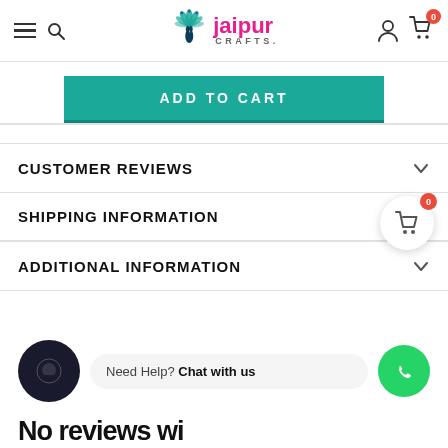Jaipur Crafts - navigation header with hamburger menu, search, logo, user icon, and cart (0)
ADD TO CART
CUSTOMER REVIEWS
SHIPPING INFORMATION
ADDITIONAL INFORMATION
[Figure (screenshot): Chat icon circle and WhatsApp help button with 'Need Help? Chat with us' text]
No reviews with...